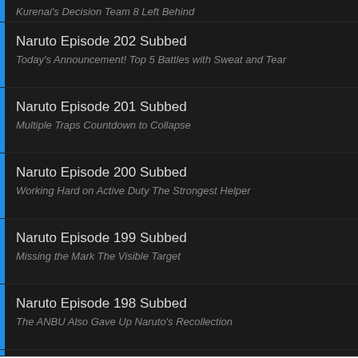Kurenai's Decision Team 8 Left Behind
Naruto Episode 202 Subbed
Today's Announcement! Top 5 Battles with Sweat and Tear
Naruto Episode 201 Subbed
Multiple Traps Countdown to Collapse
Naruto Episode 200 Subbed
Working Hard on Active Duty The Strongest Helper
Naruto Episode 199 Subbed
Missing the Mark The Visible Target
Naruto Episode 198 Subbed
The ANBU Also Gave Up Naruto's Recollection
[Figure (screenshot): Advertisement banner for Kokorosa Cutting Dies showing logo, title, description text 'Cutting dies, stamps, and embossing folders', URL kokorosastudio.com, and a blue circular CTA button with right arrow]